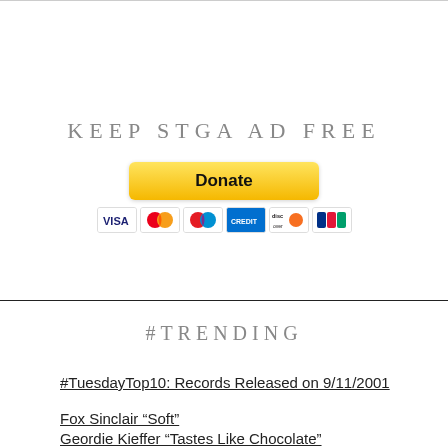KEEP STGA AD FREE
[Figure (other): PayPal Donate button with payment card icons (Visa, Mastercard, Maestro, American Express, Discover, JCB)]
#TRENDING
#TuesdayTop10: Records Released on 9/11/2001
Fox Sinclair “Soft”
Geordie Kieffer “Tastes Like Chocolate”